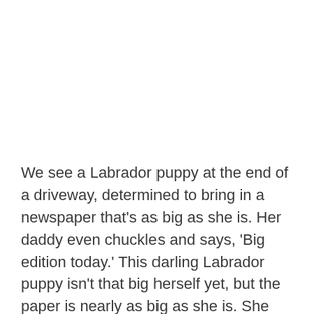[Figure (photo): White/blank image area at top of page, likely a photo of a Labrador puppy with a newspaper that is not visible in this crop.]
We see a Labrador puppy at the end of a driveway, determined to bring in a newspaper that's as big as she is. Her daddy even chuckles and says, 'Big edition today.' This darling Labrador puppy isn't that big herself yet, but the paper is nearly as big as she is. She tries to grab it sideways and is having zero luck. Gravity is winning out, but she is NOT